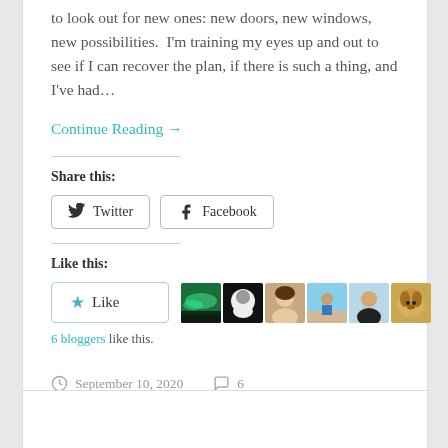to look out for new ones: new doors, new windows, new possibilities. I'm training my eyes up and out to see if I can recover the plan, if there is such a thing, and I've had…
Continue Reading →
Share this:
[Figure (screenshot): Twitter and Facebook share buttons]
Like this:
[Figure (screenshot): Like button with star icon and 6 blogger avatar thumbnails]
6 bloggers like this.
September 10, 2020   6